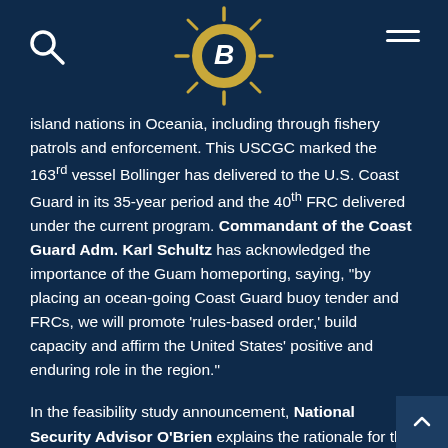Bollinger logo with search and menu icons
island nations in Oceania, including through fishery patrols and enforcement. This USCGC marked the 163rd vessel Bollinger has delivered to the U.S. Coast Guard in its 35-year period and the 40th FRC delivered under the current program. Commandant of the Coast Guard Adm. Karl Schultz has acknowledged the importance of the Guam homeporting, saying, “by placing an ocean-going Coast Guard buoy tender and FRCs, we will promote ‘rules-based order,’ build capacity and affirm the United States’ positive and enduring role in the region.”
In the feasibility study announcement, National Security Advisor O’Brien explains the rationale for the study’s launch by saying, “The USCG continues to modernize and enhance the capabilities of its fleet of major cutters, which play a prominent role in protecting our vital national interests, and where appropriate, those of our partners in the region. To that end